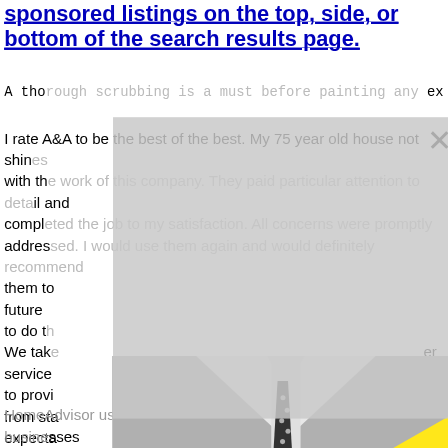sponsored listings on the top, side, or bottom of the search results page.
A thorough scrubbing is a must before painting any exteri
I rate A&A to be the best of the best. My 75 year old house not shines with the work of this company. They paid particular attention to detail and completed the job to my satisfaction. All concerns were promptly addressed. I would use them again and would definitely recommend them to future to do the We take her service ssion to provi tion from sta expecta commu utation is base small the job
[Figure (photo): Black and white photo of a man in a white suit with a black polka-dot tie and matching pocket square, with a large yellow triangle shape overlaid in the lower right]
HomeAdvisor uses an extensive screening process to screen businesses and business owners/principals. We perform this screening when a business applies to join our network and, if the business is accepted,